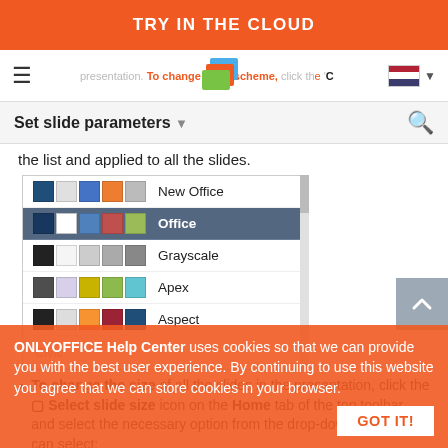TRY IN THE CLOUD
Set slide parameters
the list and applied to all the slides.
[Figure (screenshot): Dropdown list showing color scheme options: New Office, Office (selected/highlighted), Grayscale, Apex, Aspect, Civic]
To change the size of all the slides in the presentation, click the Select slide size icon on the Home tab of the top toolbar and select the necessary option from the drop-down list. You can select:
one of the two quick-access presets - Standard
ONLYOFFICE Help Center uses cookies so that we can provide you with the best user experience. By continuing to use this website you agree that we can store cookies in your browser.
GOT IT!